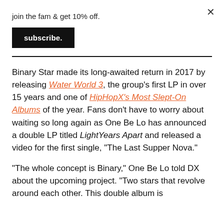join the fam & get 10% off.
subscribe.
Binary Star made its long-awaited return in 2017 by releasing Water World 3, the group’s first LP in over 15 years and one of HipHopX’s Most Slept-On Albums of the year. Fans don’t have to worry about waiting so long again as One Be Lo has announced a double LP titled LightYears Apart and released a video for the first single, “The Last Supper Nova.”
“The whole concept is Binary,” One Be Lo told DX about the upcoming project. “Two stars that revolve around each other. This double album is